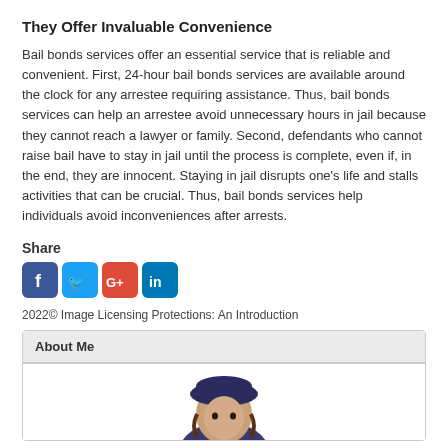They Offer Invaluable Convenience
Bail bonds services offer an essential service that is reliable and convenient. First, 24-hour bail bonds services are available around the clock for any arrestee requiring assistance. Thus, bail bonds services can help an arrestee avoid unnecessary hours in jail because they cannot reach a lawyer or family. Second, defendants who cannot raise bail have to stay in jail until the process is complete, even if, in the end, they are innocent. Staying in jail disrupts one's life and stalls activities that can be crucial. Thus, bail bonds services help individuals avoid inconveniences after arrests.
Share
[Figure (infographic): Social media share icons: Facebook (blue), Twitter (blue), Google+ (red), LinkedIn (blue)]
2022© Image Licensing Protections: An Introduction
About Me
[Figure (illustration): Cartoon avatar of a person wearing a dark blue hat/hood, brown hair visible, partial face shown from below hat]